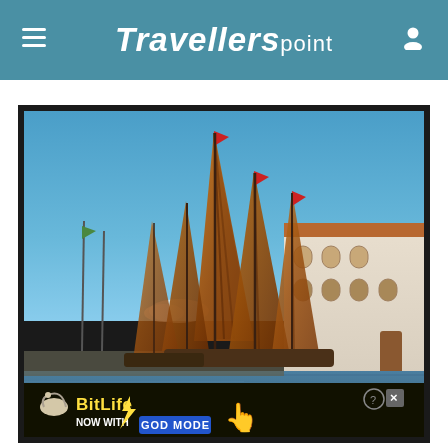Travellerspoint
[Figure (photo): Traditional Italian sailing boats (bragozzo) with large ochre/rust-colored lateen sails displayed in a harbor, with a classical European building visible on the right side and blue sky above. An advertisement banner for BitLife 'NOW WITH GOD MODE' overlays the bottom of the image.]